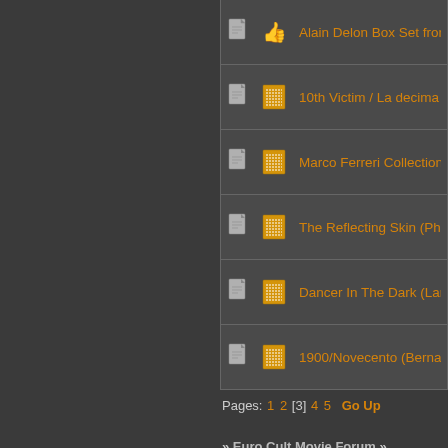Alain Delon Box Set from Lionsgate (Regi...
10th Victim / La decima Vittima (Elio Petri...
Marco Ferreri Collection (Koch Lorber), 8...
The Reflecting Skin (Philip Ridley, 1990)
Dancer In The Dark (Lars von Trier, 2000)
1900/Novecento (Bernardo Bertolucci, 19...
Pages: 1 2 [3] 4 5  Go Up
» Euro Cult Movie Forum » European Arthouse Cinema
| Icon | Type |
| --- | --- |
| Normal Topic icon | Normal Topic |
| Hot Topic icon | Hot Topic (More than 15 replies) |
| Very Hot Topic icon | Very Hot Topic (More than 25 replies) |
| Locked Topic icon | Locked Topic |
| Sticky Topic icon | Sticky Topic |
| Poll icon | Poll |